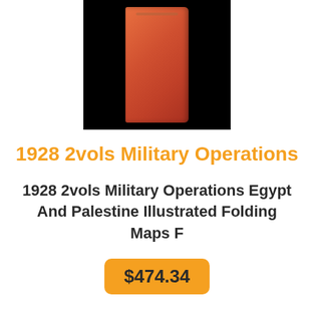[Figure (photo): A red book spine standing upright against a black background]
1928 2vols Military Operations
1928 2vols Military Operations Egypt And Palestine Illustrated Folding Maps F
$474.34